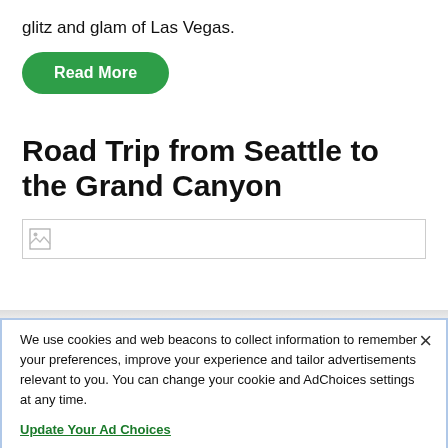glitz and glam of Las Vegas.
Read More
Road Trip from Seattle to the Grand Canyon
[Figure (other): Broken image placeholder for article header photo]
We use cookies and web beacons to collect information to remember your preferences, improve your experience and tailor advertisements relevant to you. You can change your cookie and AdChoices settings at any time.
Update Your Ad Choices
More Information
Manage Your Settings